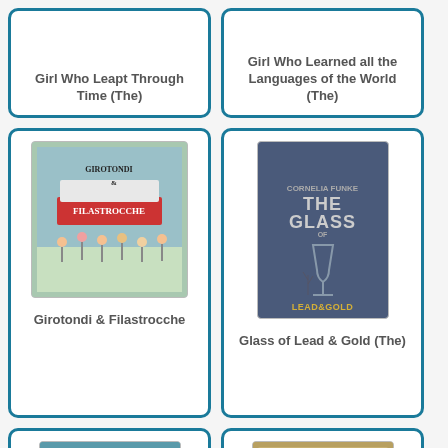Girl Who Leapt Through Time (The)
Girl Who Learned all the Languages of the World (The)
[Figure (photo): Book cover of Girotondi & Filastrocche showing children dancing and playing]
Girotondi & Filastrocche
[Figure (photo): Book cover of The Glass of Lead & Gold by Cornelia Funke showing a glass goblet against dark background]
Glass of Lead & Gold (The)
[Figure (photo): Book cover of Gloria the Cow]
[Figure (photo): Partially visible gold/brown book cover]